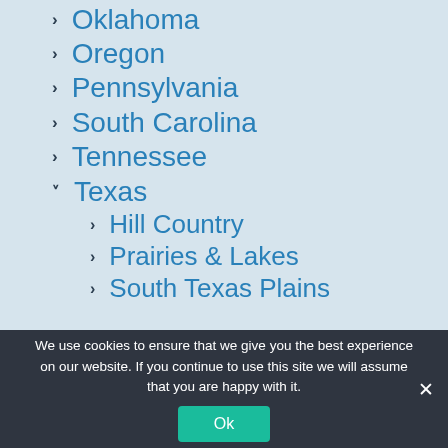Oklahoma
Oregon
Pennsylvania
South Carolina
Tennessee
Texas
Hill Country
Prairies & Lakes
South Texas Plains
We use cookies to ensure that we give you the best experience on our website. If you continue to use this site we will assume that you are happy with it.
Ok